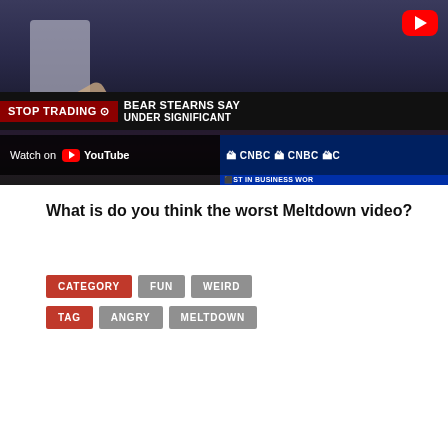[Figure (screenshot): YouTube video thumbnail showing a CNBC 'Stop Trading' segment about Bear Stearns, with a Watch on YouTube overlay button and CNBC branding bar]
What is do you think the worst Meltdown video?
CATEGORY  FUN  WEIRD
TAG  ANGRY  MELTDOWN